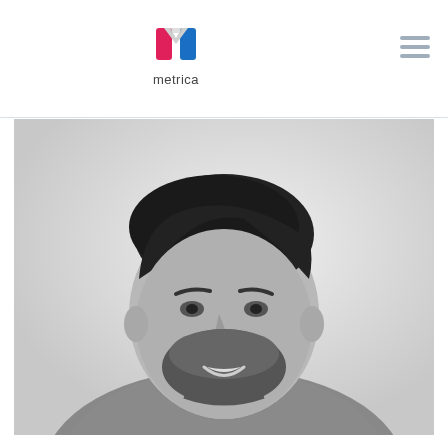metrica
[Figure (photo): Black and white headshot portrait of a young man with dark hair combed back, a beard, and a warm smile, wearing a grey sweatshirt, against a light background.]